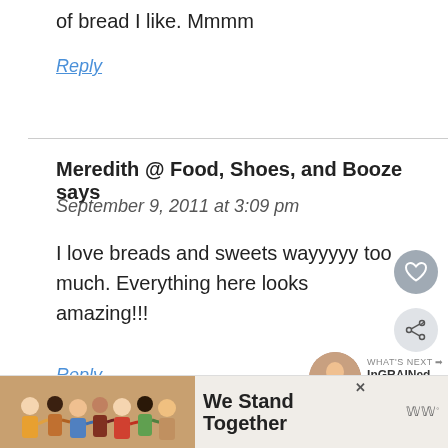of bread I like. Mmmm
Reply
Meredith @ Food, Shoes, and Booze says
September 9, 2011 at 3:09 pm
I love breads and sweets wayyyyy too much. Everything here looks amazing!!!
Reply
[Figure (screenshot): WHAT'S NEXT banner with thumbnail showing InGRAINed Habits]
[Figure (screenshot): Advertisement banner: We Stand Together with group photo of people and logo]